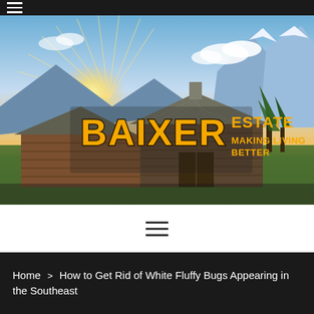Navigation bar with hamburger menu icon
[Figure (logo): Baixer Estate 'Making Living Better' logo overlaid on a scenic landscape photo showing a rustic wooden barn with mountains and dramatic sunburst sky background]
[Figure (other): Hamburger menu icon (three horizontal lines) on white background]
Home > How to Get Rid of White Fluffy Bugs Appearing in the Southeast